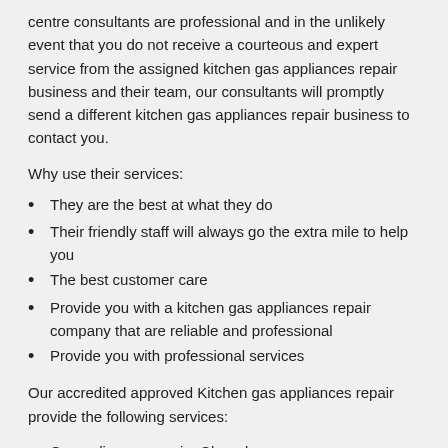centre consultants are professional and in the unlikely event that you do not receive a courteous and expert service from the assigned kitchen gas appliances repair business and their team, our consultants will promptly send a different kitchen gas appliances repair business to contact you.
Why use their services:
They are the best at what they do
Their friendly staff will always go the extra mile to help you
The best customer care
Provide you with a kitchen gas appliances repair company that are reliable and professional
Provide you with professional services
Our accredited approved Kitchen gas appliances repair provide the following services:
Ge appliances repairs Chamdor
Home appliances repair Chamdor
Oven repair Chamdor
Appliance installer Chamdor
Bosch washing machine repairs Chamdor
Aeg appliance repair man Chamdor
Sunbeam smeg appliance repairs Chamdor
Samsung appliances repairs Chamdor
Appliance repair companies Chamdor
Electrical appliances repairs Chamdor